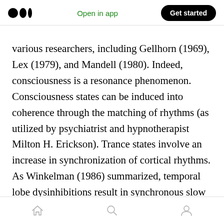Medium logo | Open in app | Get started
various researchers, including Gellhorn (1969), Lex (1979), and Mandell (1980). Indeed, consciousness is a resonance phenomenon. Consciousness states can be induced into coherence through the matching of rhythms (as utilized by psychiatrist and hypnotherapist Milton H. Erickson). Trance states involve an increase in synchronization of cortical rhythms. As Winkelman (1986) summarized, temporal lobe dysinhibitions result in synchronous slow wave EEG patterns originating in the limbic system and projecting into the frontal cortex of the
Home | Search | Profile